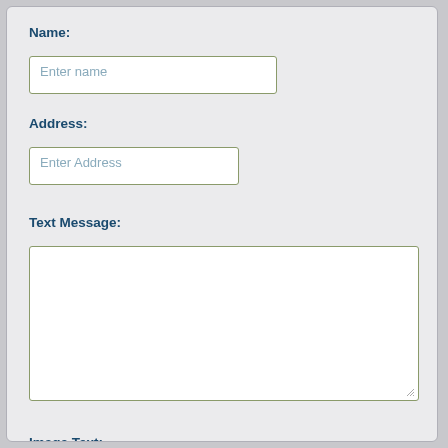Name:
[Figure (screenshot): Text input field with placeholder 'Enter name']
Address:
[Figure (screenshot): Text input field with placeholder 'Enter Address']
Text Message:
[Figure (screenshot): Large textarea input field for text message]
Image Text:
[Figure (screenshot): CAPTCHA image showing text 'GMAK' in white on black background, with an adjacent empty text input field]